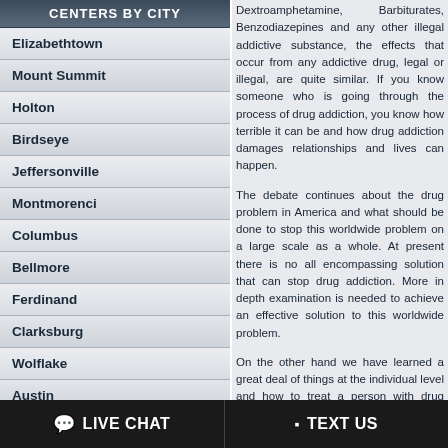CENTERS BY CITY
Elizabethtown
Mount Summit
Holton
Birdseye
Jeffersonville
Montmorenci
Columbus
Bellmore
Ferdinand
Clarksburg
Wolflake
Austin
Wyatt
Wheeler
Pekin
Dextroamphetamine, Barbiturates, Benzodiazepines and any other illegal addictive substance, the effects that occur from any addictive drug, legal or illegal, are quite similar. If you know someone who is going through the process of drug addiction, you know how terrible it can be and how drug addiction damages relationships and lives can happen.
The debate continues about the drug problem in America and what should be done to stop this worldwide problem on a large scale as a whole. At present there is no all encompassing solution that can stop drug addiction. More in depth examination is needed to achieve an effective solution to this worldwide problem.
On the other hand we have learned a great deal of things at the individual level and how to treat a person with drug addiction. The treatment options for a person that has drug addiction are many. When a person has a drug addiction problem they deal with the consequences, brought about by their drug use. In fact the consequences of their drug use may be quite awful, such as abusing or neglecting their children and family, yet despite their drug use they will continue to use. A person with drug addiction may mend their ways yet continue to use and struggle with the issues with drug addiction.
A drug addict in Mount Summit, Indiana has a hard time ordering his or her life. They have so called "friends" who still use, and with so many reminders it can be very difficult for them to stop.
For a person in Mount Summit, Indiana therapeutic decisions one could make ar...
LIVE CHAT   TEXT US